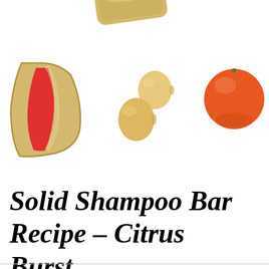[Figure (photo): Collage of soap/shampoo bar products and citrus fruits on white background: a tan/beige soap bar with red stripe (left), two small lemon-shaped items (center), an orange/tangerine (right), and a partially cropped beige soap bar at the top center.]
Solid Shampoo Bar Recipe - Citrus Burst